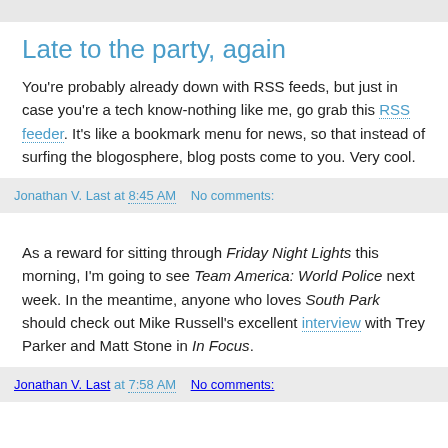Late to the party, again
You're probably already down with RSS feeds, but just in case you're a tech know-nothing like me, go grab this RSS feeder. It's like a bookmark menu for news, so that instead of surfing the blogosphere, blog posts come to you. Very cool.
Jonathan V. Last at 8:45 AM   No comments:
As a reward for sitting through Friday Night Lights this morning, I'm going to see Team America: World Police next week. In the meantime, anyone who loves South Park should check out Mike Russell's excellent interview with Trey Parker and Matt Stone in In Focus.
Jonathan V. Last at 7:58 AM   No comments: